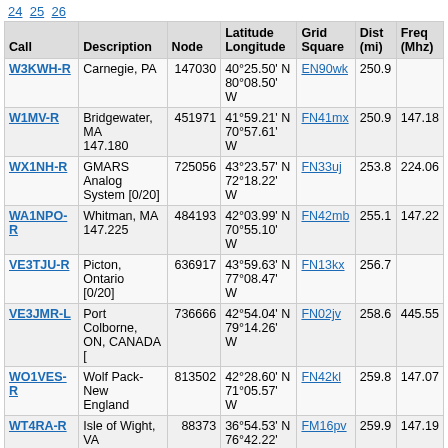24 25 26
| Call | Description | Node | Latitude
Longitude | Grid
Square | Dist
(mi) | Freq
(Mhz) |
| --- | --- | --- | --- | --- | --- | --- |
| W3KWH-R | Carnegie, PA | 147030 | 40°25.50' N
80°08.50' W | EN90wk | 250.9 |  |
| W1MV-R | Bridgewater, MA
147.180 | 451971 | 41°59.21' N
70°57.61' W | FN41mx | 250.9 | 147.18 |
| WX1NH-R | GMARS Analog
System [0/20] | 725056 | 43°23.57' N
72°18.22' W | FN33uj | 253.8 | 224.06 |
| WA1NPO-R | Whitman, MA
147.225 | 484193 | 42°03.99' N
70°55.10' W | FN42mb | 255.1 | 147.22 |
| VE3TJU-R | Picton, Ontario
[0/20] | 636917 | 43°59.63' N
77°08.47' W | FN13kx | 256.7 |  |
| VE3JMR-L | Port Colborne,
ON, CANADA [ | 736666 | 42°54.04' N
79°14.26' W | FN02jv | 258.6 | 445.55 |
| WO1VES-R | Wolf Pack-New
England | 813502 | 42°28.60' N
71°05.57' W | FN42kl | 259.8 | 147.07 |
| WT4RA-R | Isle of Wight, VA | 88373 | 36°54.53' N
76°42.22' W | FM16pv | 259.9 | 147.19 |
| KC1HO-L | Plymouth, MA
USA [0/20] | 43745 | 41°55.99' N
70°43.80' W | FN41pw | 260.6 |  |
| KC3LMP-L | New Castle, PA | 330123 | 41°00.22' N | EN91ta | 262.5 |  |